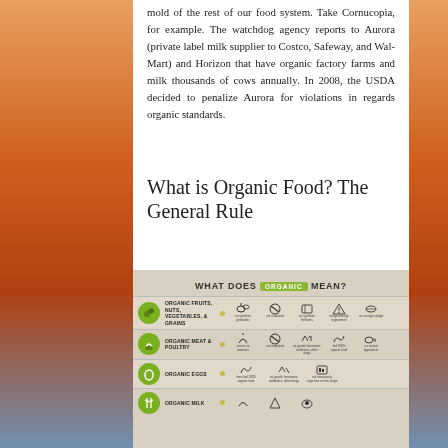mold of the rest of our food system. Take Cornucopia, for example. The watchdog agency reports to Aurora (private label milk supplier to Costco, Safeway, and Wal-Mart) and Horizon that have organic factory farms and milk thousands of cows annually. In 2008, the USDA decided to penalize Aurora for violations in regards organic standards.
What is Organic Food? The General Rule
[Figure (infographic): Infographic titled 'WHAT DOES ORGANIC MEAN?' showing categories: Organic Fruits, Nuts, Vegetables, & Grains; Organic Meat & Poultry; Organic Eggs; Organic Milk. Each category has a green circle icon and lists attributes such as no synthetic pesticides, not irradiated, no synthetic fertilizers, not genetically engineered, no sewage sludge, access to outdoors, no growth hormones, fed 100% organic food, no animal byproducts.]